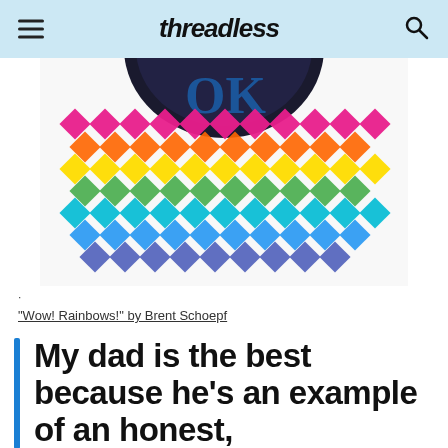Threadless
[Figure (photo): Colorful rainbow pixel/diamond pattern artwork with dark circular element at top, partial view. 'Wow! Rainbows!' by Brent Schoepf]
·
“Wow! Rainbows!” by Brent Schoepf
My dad is the best because he’s an example of an honest,